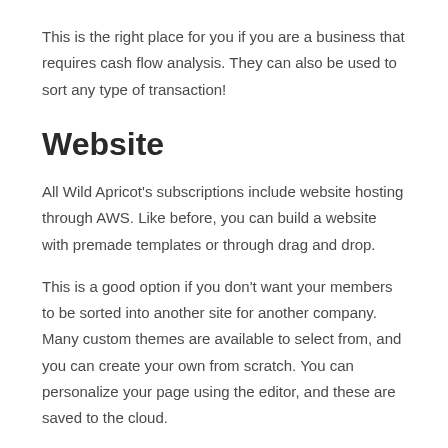This is the right place for you if you are a business that requires cash flow analysis. They can also be used to sort any type of transaction!
Website
All Wild Apricot's subscriptions include website hosting through AWS. Like before, you can build a website with premade templates or through drag and drop.
This is a good option if you don't want your members to be sorted into another site for another company. Many custom themes are available to select from, and you can create your own from scratch. You can personalize your page using the editor, and these are saved to the cloud.
If your organization needs a custom domain, you may need to consider having a paid subscription. A subdomain is not included in